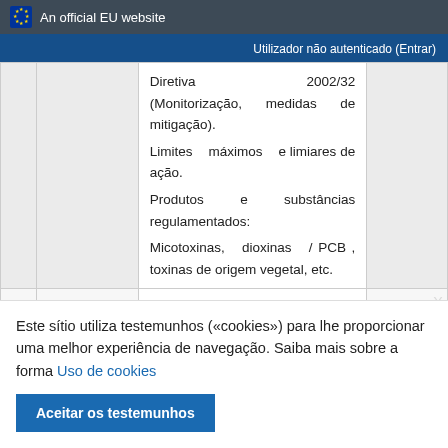An official EU website
Utilizador não autenticado (Entrar)
|  |  | Diretiva 2002/32 (Monitorização, medidas de mitigação). Limites máximos e limiares de ação. Produtos e substâncias regulamentados: Micotoxinas, dioxinas / PCB , toxinas de origem vegetal, etc. |  |
|  |  | Transferência de coccidiostáticos para alimentos não-alvo |  |
|  |  | características |  |
|  |  | 365 dias de acesso |  |
Este sítio utiliza testemunhos («cookies») para lhe proporcionar uma melhor experiência de navegação. Saiba mais sobre a forma Uso de cookies
Aceitar os testemunhos